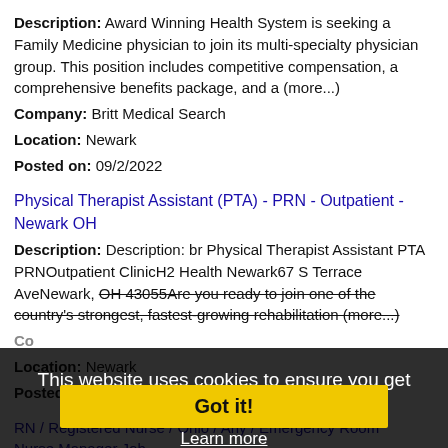Description: Award Winning Health System is seeking a Family Medicine physician to join its multi-specialty physician group. This position includes competitive compensation, a comprehensive benefits package, and a (more...)
Company: Britt Medical Search
Location: Newark
Posted on: 09/2/2022
Physical Therapist Assistant (PTA) - PRN - Outpatient - Newark OH
Description: Description: br Physical Therapist Assistant PTA PRNOutpatient ClinicH2 Health Newark67 S Terrace AveNewark, OH 43055Are you ready to join one of the country's strongest, fastest-growing rehabilitation (more...)
Company:
Location: Newark
Posted on: 09/2/2022
RN / Registered Nurse / Ohio / Any / Emergency Room Nurse Manager Job
Description: ED NURSE MANAGER NEEDED EAST OF COLUMBUS OHIO ul li full time,
Company: Nurse Job Board
Location: Newark
This website uses cookies to ensure you get the best experience on our website. Learn more
Got it!